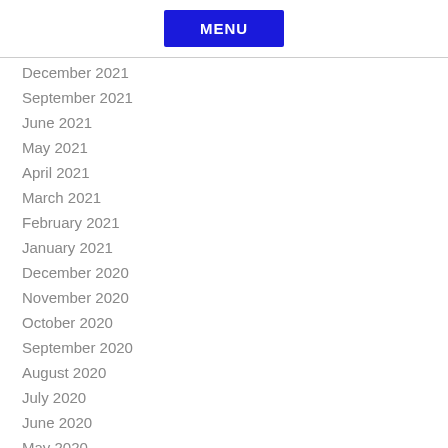[Figure (other): Blue MENU button]
December 2021
September 2021
June 2021
May 2021
April 2021
March 2021
February 2021
January 2021
December 2020
November 2020
October 2020
September 2020
August 2020
July 2020
June 2020
May 2020
April 2020